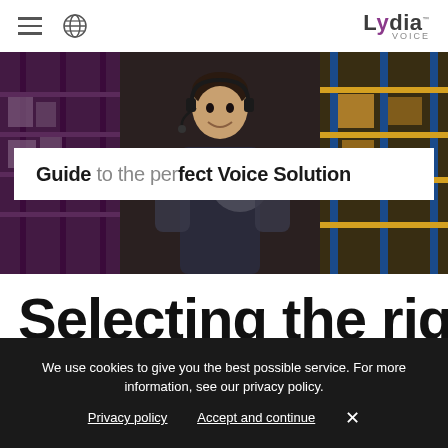Lydia Voice — navigation bar with hamburger menu, globe icon, and Lydia Voice logo
[Figure (photo): Warehouse worker wearing a headset smiling, surrounded by shelving racks loaded with boxes in a distribution center. Blue and golden shelving racks visible in background.]
Guide to the perfect Voice Solution
Selecting the right
We use cookies to give you the best possible service. For more information, see our privacy policy.
Privacy policy   Accept and continue   ×